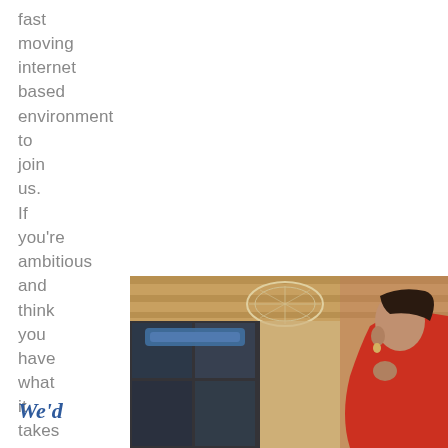fast
moving
internet
based
environment
to
join
us.
If
you're
ambitious
and
think
you
have
what
it
takes
....
[Figure (photo): Office/workspace interior photo with a person in a red top visible on the right side, and glass partition walls and ceiling visible]
We'd